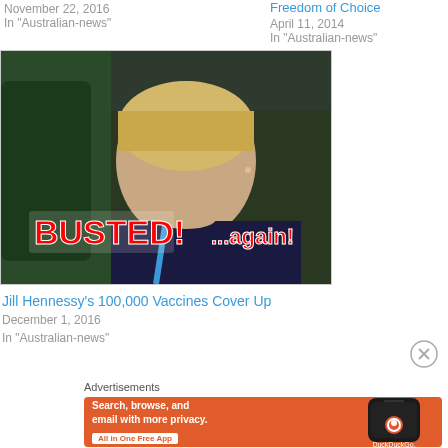November 22, 2016
In "Australian-news"
Freedom of Choice
April 11, 2014
In "Australian-news"
[Figure (photo): Photo of a blonde woman seated in what appears to be a parliament or government chamber, with overlaid red bold text 'BUSTED!' on the left and '...again!' on the right]
Jill Hennessy's 100,000 Vaccines Cover Up
December 1, 2016
In "Australian-news"
Advertisements
[Figure (screenshot): DuckDuckGo advertisement banner with orange background. Text: 'Search, browse, and email with more privacy. All in One Free App' with a phone mockup showing the DuckDuckGo logo.]